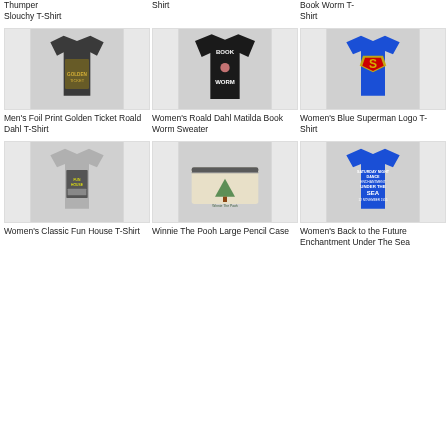Thumper Slouchy T-Shirt
Shirt
Book Worm T-Shirt
[Figure (photo): Men's Foil Print Golden Ticket Roald Dahl T-Shirt - dark grey t-shirt with foil print]
Men's Foil Print Golden Ticket Roald Dahl T-Shirt
[Figure (photo): Women's Roald Dahl Matilda Book Worm Sweater - black long sleeve sweater with Book Worm text and character]
Women's Roald Dahl Matilda Book Worm Sweater
[Figure (photo): Women's Blue Superman Logo T-Shirt - blue t-shirt with Superman S logo]
Women's Blue Superman Logo T-Shirt
[Figure (photo): Women's Classic Fun House T-Shirt - grey t-shirt with Fun House graphic]
Women's Classic Fun House T-Shirt
[Figure (photo): Winnie The Pooh Large Pencil Case - beige/cream pencil case with green tree illustration]
Winnie The Pooh Large Pencil Case
[Figure (photo): Women's Back to the Future Enchantment Under The Sea T-Shirt - blue t-shirt with text print]
Women's Back to the Future Enchantment Under The Sea